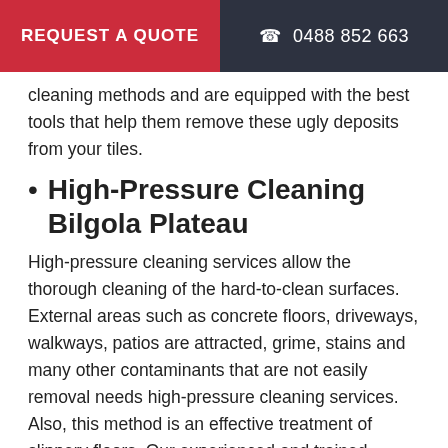REQUEST A QUOTE   0488 852 663
cleaning methods and are equipped with the best tools that help them remove these ugly deposits from your tiles.
High-Pressure Cleaning Bilgola Plateau
High-pressure cleaning services allow the thorough cleaning of the hard-to-clean surfaces. External areas such as concrete floors, driveways, walkways, patios are attracted, grime, stains and many other contaminants that are not easily removal needs high-pressure cleaning services. Also, this method is an effective treatment of slippery floors. Our experienced and trained professionals are equipped with hi-tech tools and